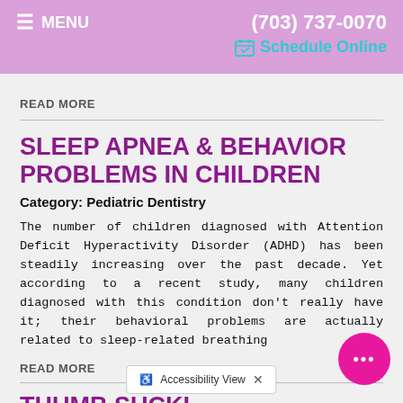MENU | (703) 737-0070 | Schedule Online
READ MORE
SLEEP APNEA & BEHAVIOR PROBLEMS IN CHILDREN
Category: Pediatric Dentistry
The number of children diagnosed with Attention Deficit Hyperactivity Disorder (ADHD) has been steadily increasing over the past decade. Yet according to a recent study, many children diagnosed with this condition don't really have it; their behavioral problems are actually related to sleep-related breathing
READ MORE
THUMB SUCKI…